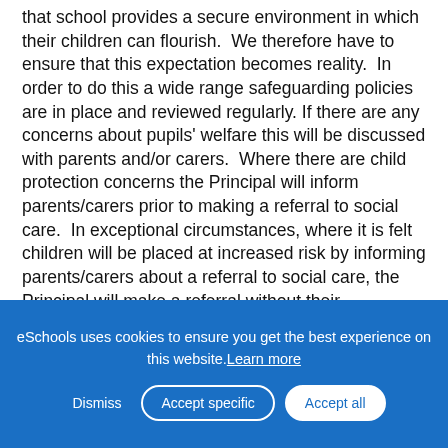that school provides a secure environment in which their children can flourish.  We therefore have to ensure that this expectation becomes reality.  In order to do this a wide range safeguarding policies are in place and reviewed regularly. If there are any concerns about pupils' welfare this will be discussed with parents and/or carers.  Where there are child protection concerns the Principal will inform parents/carers prior to making a referral to social care.  In exceptional circumstances, where it is felt children will be placed at increased risk by informing parents/carers about a referral to social care, the Principal will make a referral without their knowledge.  We want to work with all stakeholders
eSchools uses cookies to ensure you get the best experience on this website. Learn more